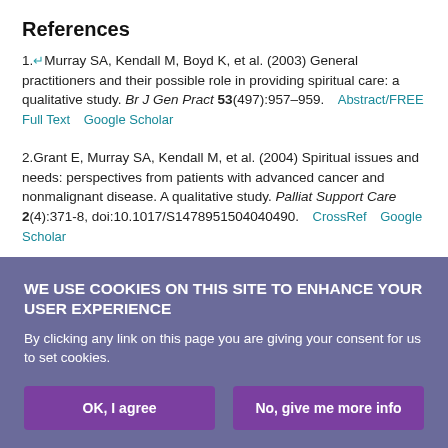References
1. Murray SA, Kendall M, Boyd K, et al. (2003) General practitioners and their possible role in providing spiritual care: a qualitative study. Br J Gen Pract 53(497):957–959. Abstract/FREE Full Text  Google Scholar
2. Grant E, Murray SA, Kendall M, et al. (2004) Spiritual issues and needs: perspectives from patients with advanced cancer and nonmalignant disease. A qualitative study. Palliat Support Care 2(4):371-8, doi:10.1017/S1478951504040490. CrossRef  Google Scholar
3. Vermandere M, Choi Y-N, De Brabandere H, et al. (2012) GPs' views concerning spirituality and the use of the FICA tool in palliative care in Flanders: a qualitative study. Br J Gen Pract 62(603):718–725, doi:10.3399/bjgp12...
WE USE COOKIES ON THIS SITE TO ENHANCE YOUR USER EXPERIENCE
By clicking any link on this page you are giving your consent for us to set cookies.
OK, I agree   No, give me more info